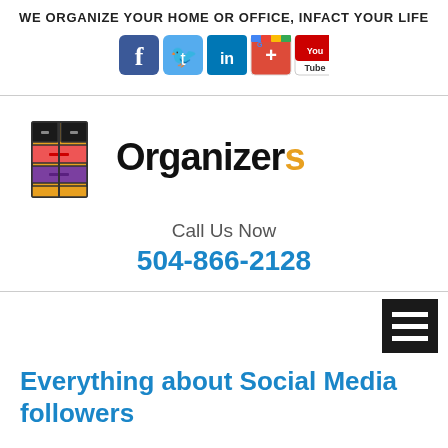WE ORGANIZE YOUR HOME OR OFFICE, INFACT YOUR LIFE
[Figure (infographic): Row of five social media icons: Facebook (blue), Twitter (blue bird), LinkedIn (blue), Google+ (colorful), YouTube (red/white)]
[Figure (logo): Organizers logo: colorful cabinet/shelf illustration on the left with the word 'Organizer' in black bold and 's' in orange]
Call Us Now
504-866-2128
[Figure (other): Hamburger menu icon (three white horizontal lines on dark background)]
Everything about Social Media followers